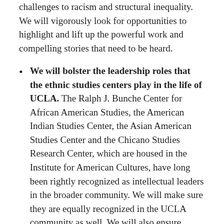challenges to racism and structural inequality. We will vigorously look for opportunities to highlight and lift up the powerful work and compelling stories that need to be heard.
We will bolster the leadership roles that the ethnic studies centers play in the life of UCLA. The Ralph J. Bunche Center for African American Studies, the American Indian Studies Center, the Asian American Studies Center and the Chicano Studies Research Center, which are housed in the Institute for American Cultures, have long been rightly recognized as intellectual leaders in the broader community. We will make sure they are equally recognized in the UCLA community as well. We will also ensure scholars within the ethnic studies centers